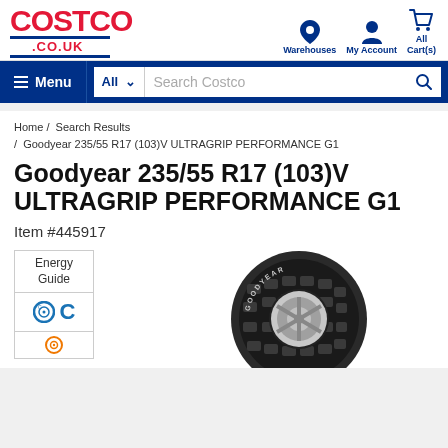[Figure (logo): Costco .co.uk logo in red and blue]
Warehouses  My Account  All Cart(s)
≡ Menu
All ∨  Search Costco
Home /  Search Results  /  Goodyear 235/55 R17 (103)V ULTRAGRIP PERFORMANCE G1
Goodyear 235/55 R17 (103)V ULTRAGRIP PERFORMANCE G1
Item #445917
[Figure (photo): Energy Guide label showing letter C rating, with Goodyear 235/55 R17 (103)V UltraGrip Performance G1 tire image partially visible]